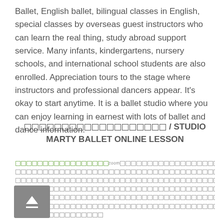Ballet, English ballet, bilingual classes in English, special classes by overseas guest instructors who can learn the real thing, study abroad support service. Many infants, kindergartens, nursery schools, and international school students are also enrolled. Appreciation tours to the stage where instructors and professional dancers appear. It's okay to start anytime. It is a ballet studio where you can enjoy learning in earnest with lots of ballet and dance information.
[Japanese text] / STUDIO MARTY BALLET ONLINE LESSON
[Japanese text describing zoom online lesson details and OL related content]